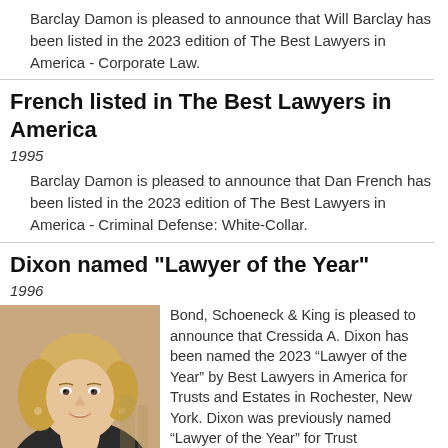Barclay Damon is pleased to announce that Will Barclay has been listed in the 2023 edition of The Best Lawyers in America - Corporate Law.
French listed in The Best Lawyers in America
1995
Barclay Damon is pleased to announce that Dan French has been listed in the 2023 edition of The Best Lawyers in America - Criminal Defense: White-Collar.
Dixon named "Lawyer of the Year"
1996
[Figure (photo): Professional headshot of Cressida A. Dixon, a blonde woman in a dark jacket, smiling.]
Bond, Schoeneck & King is pleased to announce that Cressida A. Dixon has been named the 2023 “Lawyer of the Year” by Best Lawyers in America for Trusts and Estates in Rochester, New York. Dixon was previously named “Lawyer of the Year” for Trust